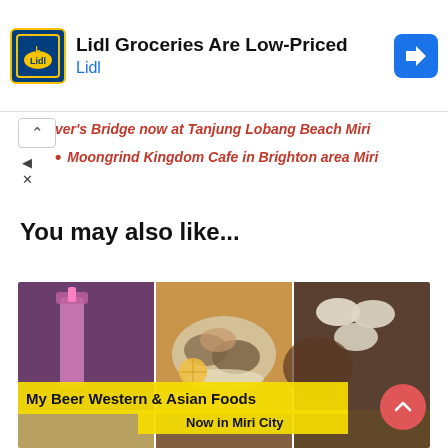[Figure (infographic): Lidl advertisement banner with Lidl logo, text 'Lidl Groceries Are Low-Priced', sponsor name 'Lidl', and a blue navigation arrow icon on the right]
ver's Bridge now at Tanjung Lobang Beach Miri
Moongrind Kingdom Cafe in Brighton area Miri
You may also like...
[Figure (photo): Grid of food photos showing drinks, oysters on a plate, small dishes with sauces and food. Overlay text reads 'My Beer Western & Asian Foods Now in Miri City']